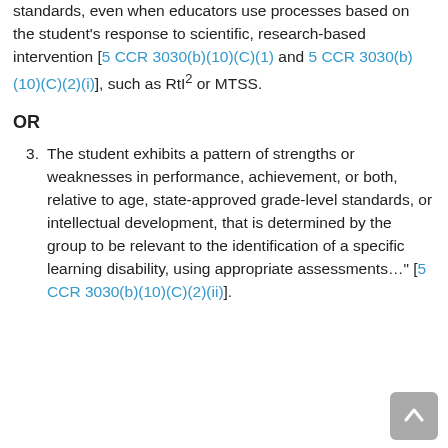standards, even when educators use processes based on the student's response to scientific, research-based intervention [5 CCR 3030(b)(10)(C)(1) and 5 CCR 3030(b)(10)(C)(2)(i)], such as RtI² or MTSS.
OR
3. The student exhibits a pattern of strengths or weaknesses in performance, achievement, or both, relative to age, state-approved grade-level standards, or intellectual development, that is determined by the group to be relevant to the identification of a specific learning disability, using appropriate assessments…" [5 CCR 3030(b)(10)(C)(2)(ii)].